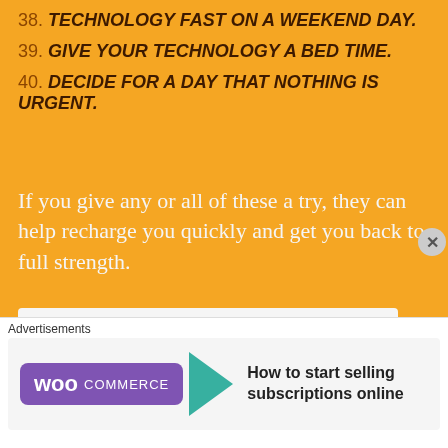38. TECHNOLOGY FAST ON A WEEKEND DAY.
39. GIVE YOUR TECHNOLOGY A BED TIME.
40. DECIDE FOR A DAY THAT NOTHING IS URGENT.
If you give any or all of these a try, they can help recharge you quickly and get you back to full strength.
[Figure (illustration): Two silhouettes of human figures each with a battery indicator on their chest. Left figure has an empty/white battery, right figure has a full/green battery. Represents low vs fully recharged state.]
Advertisements
[Figure (other): WooCommerce advertisement banner: WooCommerce logo with teal arrow, text 'How to start selling subscriptions online']